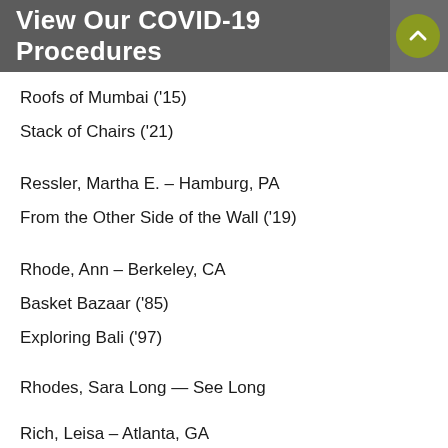View Our COVID-19 Procedures
Roofs of Mumbai ('15)
Stack of Chairs ('21)
Ressler, Martha E. – Hamburg, PA
From the Other Side of the Wall ('19)
Rhode, Ann – Berkeley, CA
Basket Bazaar ('85)
Exploring Bali ('97)
Rhodes, Sara Long — See Long
Rich, Leisa – Atlanta, GA
My House is Built on Sand ('09)
Richardson, Emily – Philadelphia, PA